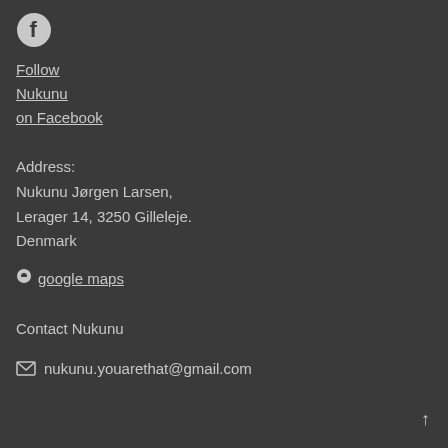[Figure (logo): Facebook circular logo icon in white on dark background]
Follow Nukunu on Facebook
Address:
Nukunu Jørgen Larsen,
Lerager 14, 3250 Gilleleje.
Denmark
📍 google maps
Contact Nukunu
✉ nukunu.youarethat@gmail.com
↑